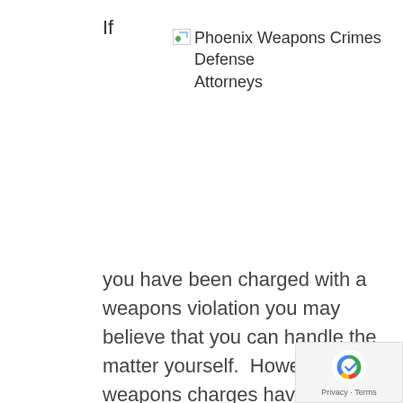If
[Figure (logo): Broken image placeholder with text 'Phoenix Weapons Crimes Defense Attorneys']
you have been charged with a weapons violation you may believe that you can handle the matter yourself.  However, weapons charges have a tendency to grow into much larger and more serious charges.  Weapons charges may be added to other criminal charges and enhance them to felony status or may mean years longer in prison if you are convicted.